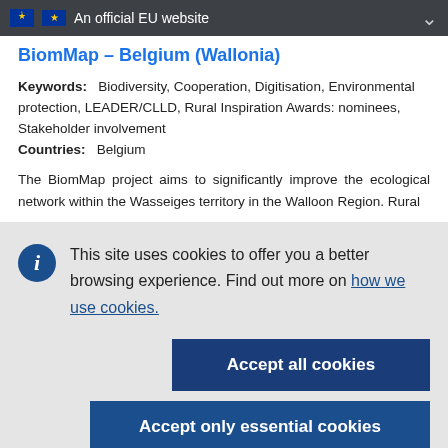An official EU website
BiomMap – Belgium (Wallonia)
Keywords: Biodiversity, Cooperation, Digitisation, Environmental protection, LEADER/CLLD, Rural Inspiration Awards: nominees, Stakeholder involvement
Countries: Belgium
The BiomMap project aims to significantly improve the ecological network within the Wasseiges territory in the Walloon Region. Rural
This site uses cookies to offer you a better browsing experience. Find out more on how we use cookies.
Accept all cookies
Accept only essential cookies